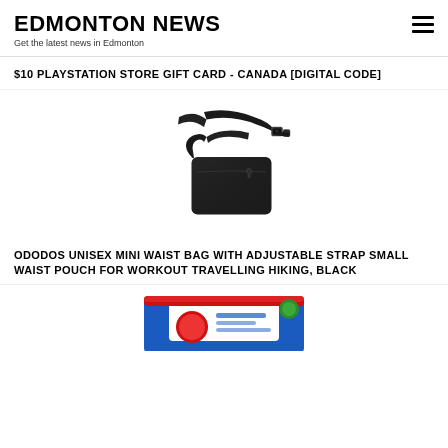EDMONTON NEWS
Get the latest news in Edmonton
$10 PLAYSTATION STORE GIFT CARD - CANADA [DIGITAL CODE]
[Figure (photo): Black mini waist bag / fanny pack with adjustable shoulder strap and buckle, photographed on white background]
ODODOS UNISEX MINI WAIST BAG WITH ADJUSTABLE STRAP SMALL WAIST POUCH FOR WORKOUT TRAVELLING HIKING, BLACK
[Figure (photo): Partial view of a blue packaged product (appears to be wipes or similar), partially cut off at bottom of page]